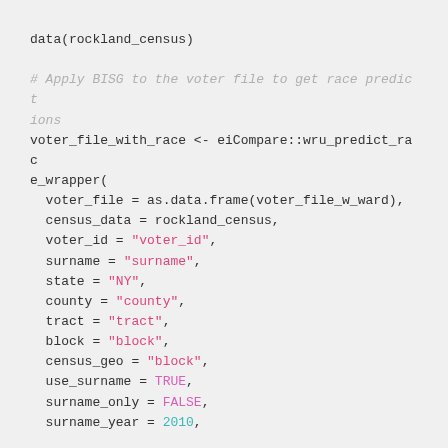data(rockland_census)

# Apply BISG to the voter file to get race predictions
voter_file_with_race <- eiCompare::wru_predict_race_wrapper(
  voter_file = as.data.frame(voter_file_w_ward),
  census_data = rockland_census,
  voter_id = "voter_id",
  surname = "surname",
  state = "NY",
  county = "county",
  tract = "tract",
  block = "block",
  census_geo = "block",
  use_surname = TRUE,
  surname_only = FALSE,
  surname_year = 2010,
  use_age = FALSE,
  use_sex = FALSE,
  return_surname_flag = TRUE,
  return_geocode_flag = TRUE,
  verbose = FALSE
)